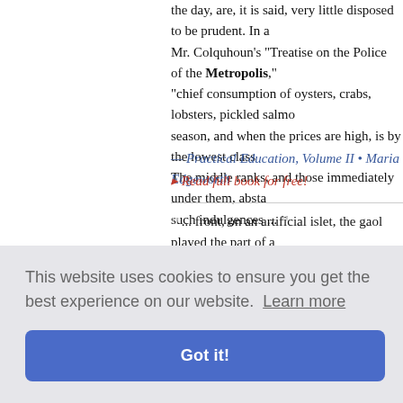the day, are, it is said, very little disposed to be prudent. In a Mr. Colquhoun's "Treatise on the Police of the Metropolis," "chief consumption of oysters, crabs, lobsters, pickled salmo season, and when the prices are high, is by the lowest class The middle ranks, and those immediately under them, absta such indulgences ...
— Practical Education, Volume II • Maria Edgeworth
▸ Read full book for free!
... front, on an artificial islet, the gaol played the part of a this first and distant view, the place had scarce the air of wha village; rather of that which it was also, a petty metropolis,
— The Works of Robert Louis Stevenson - Swanston Edition
ish Temple certain ety riests and
who, however, do not continue for life. The rites, by some su
[Figure (screenshot): Cookie consent banner overlay with text 'This website uses cookies to ensure you get the best experience on our website. Learn more' and a 'Got it!' button]